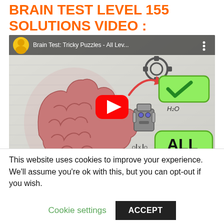BRAIN TEST LEVEL 155 SOLUTIONS VIDEO :
[Figure (screenshot): YouTube video thumbnail for 'Brain Test: Tricky Puzzles - All Lev...' showing a cartoon brain illustration with puzzles, a robot, atoms, tic-tac-toe board, a green checkmark, and the text 'ALL Levels'. Red play button in center.]
This website uses cookies to improve your experience. We'll assume you're ok with this, but you can opt-out if you wish.
Cookie settings   ACCEPT